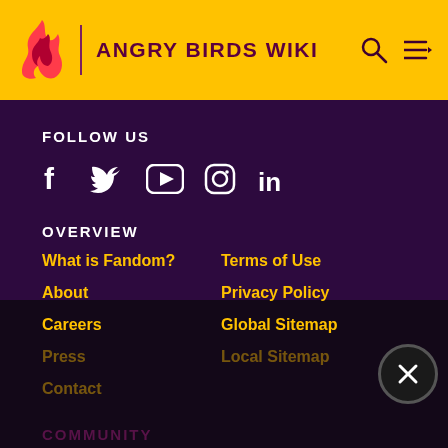ANGRY BIRDS WIKI
FOLLOW US
[Figure (illustration): Social media icons: Facebook, Twitter, YouTube, Instagram, LinkedIn]
OVERVIEW
What is Fandom?
Terms of Use
About
Privacy Policy
Careers
Global Sitemap
Press
Local Sitemap
Contact
COMMUNITY